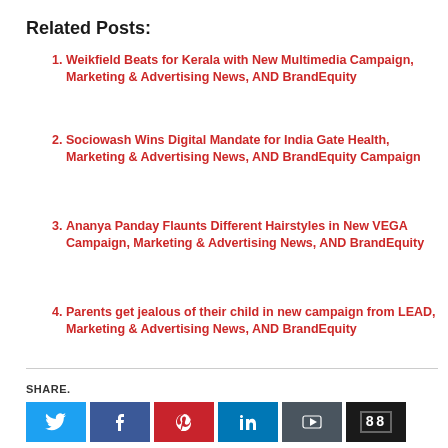Related Posts:
Weikfield Beats for Kerala with New Multimedia Campaign, Marketing & Advertising News, AND BrandEquity
Sociowash Wins Digital Mandate for India Gate Health, Marketing & Advertising News, AND BrandEquity Campaign
Ananya Panday Flaunts Different Hairstyles in New VEGA Campaign, Marketing & Advertising News, AND BrandEquity
Parents get jealous of their child in new campaign from LEAD, Marketing & Advertising News, AND BrandEquity
SHARE.